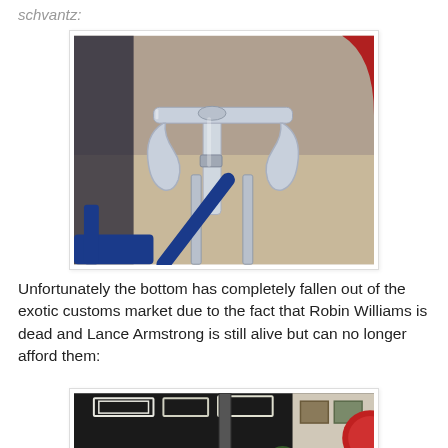schvantz:
[Figure (photo): Close-up photo of a chrome/silver bicycle stem and handlebars, showing polished metalwork. A blue bicycle frame is partially visible on the left. The photo is taken indoors at what appears to be a bike show or shop.]
Unfortunately the bottom has completely fallen out of the exotic customs market due to the fact that Robin Williams is dead and Lance Armstrong is still alive but can no longer afford them:
[Figure (photo): Interior of a bicycle shop or exhibit hall with ceiling lights visible. A person is partially visible at the bottom. Red circular element visible on the right side. Partial view cut off at bottom of page.]